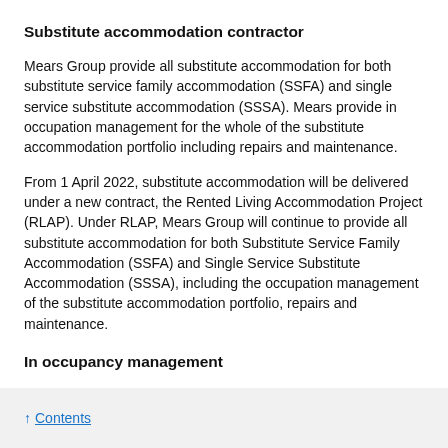Substitute accommodation contractor
Mears Group provide all substitute accommodation for both substitute service family accommodation (SSFA) and single service substitute accommodation (SSSA). Mears provide in occupation management for the whole of the substitute accommodation portfolio including repairs and maintenance.
From 1 April 2022, substitute accommodation will be delivered under a new contract, the Rented Living Accommodation Project (RLAP). Under RLAP, Mears Group will continue to provide all substitute accommodation for both Substitute Service Family Accommodation (SSFA) and Single Service Substitute Accommodation (SSSA), including the occupation management of the substitute accommodation portfolio, repairs and maintenance.
In occupancy management
↑ Contents